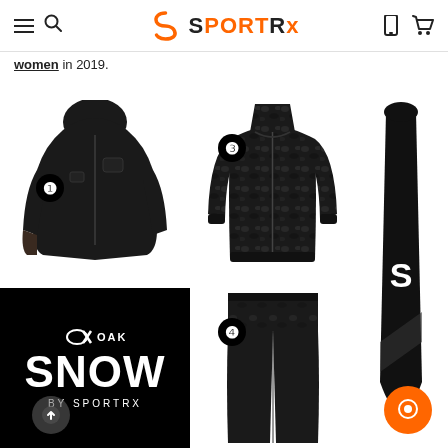SportRx
women in 2019.
[Figure (photo): Black ski jacket with numbered badge 1]
[Figure (photo): Oakley Snow by SportRx black promotional banner]
[Figure (photo): Black camo zip-up hoodie with numbered badge 3]
[Figure (photo): Black pants with numbered badge 4]
[Figure (photo): Black snowboard with S logo]